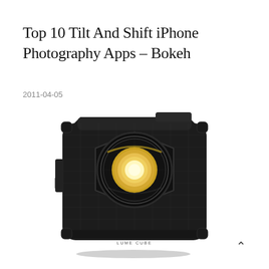Top 10 Tilt And Shift iPhone Photography Apps – Bokeh
2011-04-05
[Figure (photo): A compact square black photography LED light unit with textured carbon-fiber-style body, hexagonal front bezel, and a circular COB LED element with gold/yellow center. The device has a USB port on the side and rubber corner guards.]
^